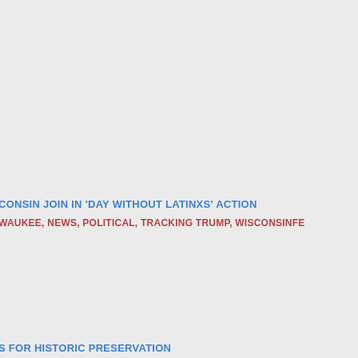CONSIN JOIN IN 'DAY WITHOUT LATINXS' ACTION
WAUKEE, NEWS, POLITICAL, TRACKING TRUMP, WISCONSINFE
S FOR HISTORIC PRESERVATION